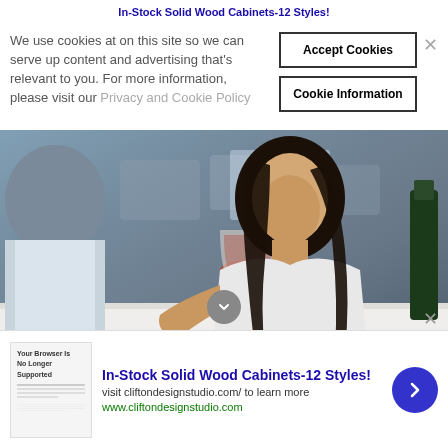In-Stock Solid Wood Cabinets-12 Styles!
We use cookies at on this site so we can serve up content and advertising that's relevant to you. For more information, please visit our Privacy and Cookie Policy
[Figure (photo): Screenshot of a website with a cookie consent overlay. Behind the overlay is a video/photo of two people at a restaurant table. A woman with long dark hair in a white top is speaking, holding a glass of red wine. A man is seen from behind on the left.]
In-Stock Solid Wood Cabinets-12 Styles!
visit cliftondesignstudio.com/ to learn more
www.cliftondesignstudio.com